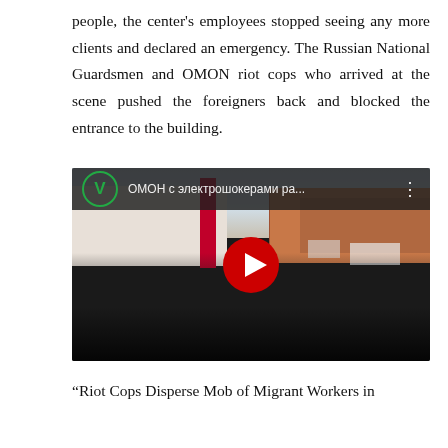people, the center's employees stopped seeing any more clients and declared an emergency. The Russian National Guardsmen and OMON riot cops who arrived at the scene pushed the foreigners back and blocked the entrance to the building.
[Figure (screenshot): YouTube video thumbnail showing a crowd of people outside a building in winter, with a YouTube play button overlay. The video title reads 'ОМОН с электрошокерами ра...' and shows the YouTube-style interface with a green V logo icon.]
“Riot Cops Disperse Mob of Migrant Workers in Troybershiy Cenber Centalk” Video Linked